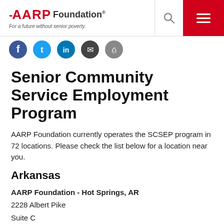AARP Foundation — For a future without senior poverty.
[Figure (logo): Social media icons: Facebook, Twitter, LinkedIn, Email, Print]
Senior Community Service Employment Program
AARP Foundation currently operates the SCSEP program in 72 locations. Please check the list below for a location near you.
Arkansas
AARP Foundation - Hot Springs, AR
2228 Albert Pike
Suite C
Hot Springs, AR 71913
501-767-2211
AARP Foundation - Little Rock, AR